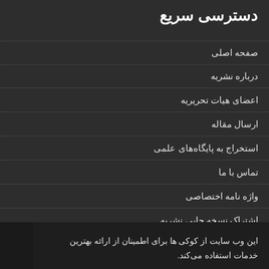دسترسی سریع
صفحه اصلی
درباره نشریه
اعضای هیات تحریریه
ارسال مقاله
استخراج به پایگاه‌های علمی
تماس با ما
واژه نامه اختصاصی
اشتراک نسخه چاپی نشریه
این وب سایت از کوکی ها برای اطمینان از ارائه بهترین خدمات استفاده می‌کند.
متوجه شدم